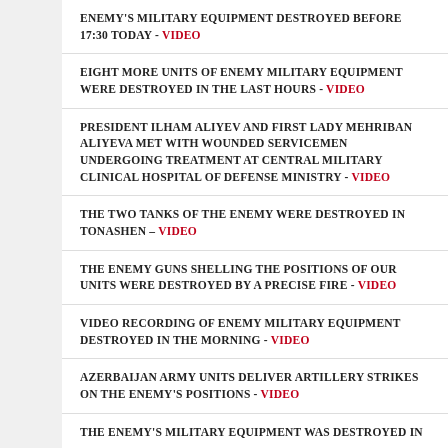ENEMY'S MILITARY EQUIPMENT DESTROYED BEFORE 17:30 TODAY - VIDEO
EIGHT MORE UNITS OF ENEMY MILITARY EQUIPMENT WERE DESTROYED IN THE LAST HOURS - VIDEO
PRESIDENT ILHAM ALIYEV AND FIRST LADY MEHRIBAN ALIYEVA MET WITH WOUNDED SERVICEMEN UNDERGOING TREATMENT AT CENTRAL MILITARY CLINICAL HOSPITAL OF DEFENSE MINISTRY - VIDEO
THE TWO TANKS OF THE ENEMY WERE DESTROYED IN TONASHEN – VIDEO
THE ENEMY GUNS SHELLING THE POSITIONS OF OUR UNITS WERE DESTROYED BY A PRECISE FIRE - VIDEO
VIDEO RECORDING OF ENEMY MILITARY EQUIPMENT DESTROYED IN THE MORNING - VIDEO
AZERBAIJAN ARMY UNITS DELIVER ARTILLERY STRIKES ON THE ENEMY'S POSITIONS - VIDEO
THE ENEMY'S MILITARY EQUIPMENT WAS DESTROYED IN